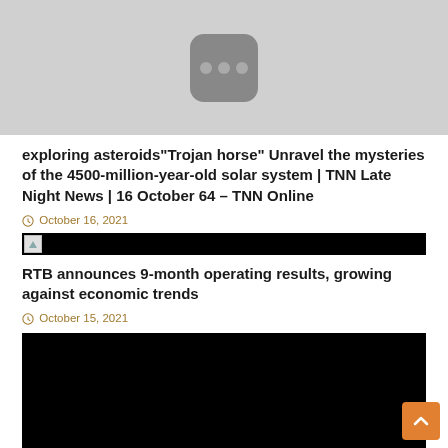[Figure (photo): Top portion of a screenshot showing a grey background with a dark rounded rectangle device icon (resembling a remote control or set-top box) with three circular buttons]
exploring asteroids"Trojan horse" Unravel the mysteries of the 4500-million-year-old solar system | TNN Late Night News | 16 October 64 – TNN Online
October 16, 2021
[Figure (photo): Wide thumbnail image, mostly black with a small broken image icon on the left]
RTB announces 9-month operating results, growing against economic trends
October 15, 2021
[Figure (photo): Large black rectangle image thumbnail at the bottom of the page]